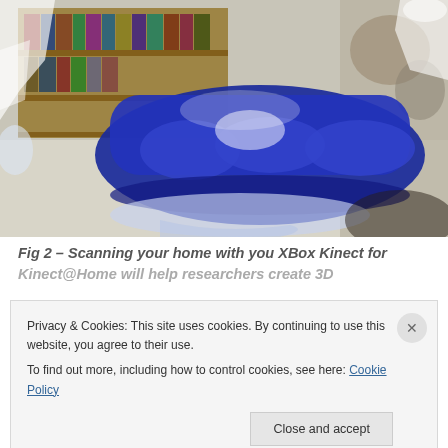[Figure (photo): A 3D scan or depth-mapped image of a living room interior showing a blue sofa/couch in the center, bookshelves with colorful books in the background, and white splattering artifacts typical of depth-camera reconstruction. The floor appears light-colored with some blue spill or artifact.]
Fig 2 – Scanning your home with you XBox Kinect for Kinect@Home will help researchers create 3D
Privacy & Cookies: This site uses cookies. By continuing to use this website, you agree to their use.
To find out more, including how to control cookies, see here: Cookie Policy